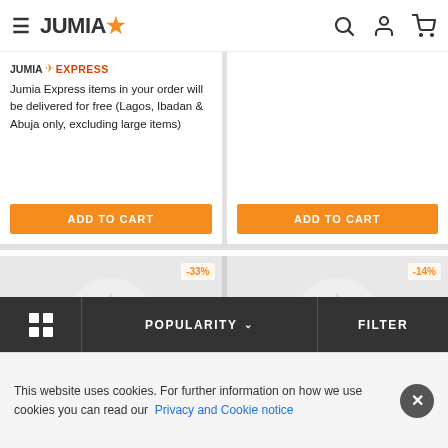JUMIA
JUMIA EXPRESS
Jumia Express items in your order will be delivered for free (Lagos, Ibadan & Abuja only, excluding large items)
ADD TO CART
ADD TO CART
[Figure (screenshot): Product card with -33% discount badge and placeholder star icon on grey background]
[Figure (screenshot): Product card with -14% discount badge and placeholder star icon on grey background]
POPULARITY ∨
FILTER
This website uses cookies. For further information on how we use cookies you can read our Privacy and Cookie notice